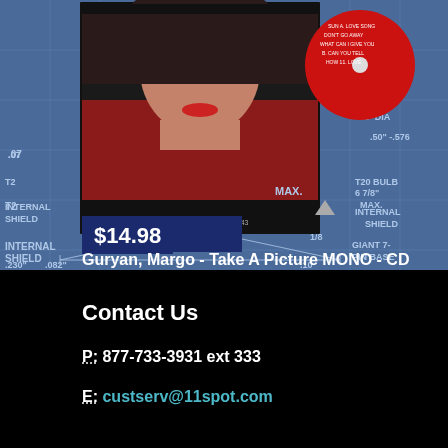[Figure (photo): Product listing image showing a CD album 'Take A Picture' by Margo Guryan with album cover art (woman in red sweater) and a red CD disc, overlaid on a blue engineering/blueprint technical diagram background]
$14.98
Guryan, Margo - Take A Picture MONO - CD
Contact Us
P: 877-733-3931 ext 333
E: custserv@11spot.com